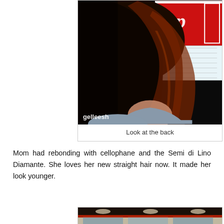[Figure (photo): Back view of a woman with straight reddish-brown hair, wearing a gray top, with a red and white sign visible in the background. Watermark 'gelleesh' in bottom-left corner.]
Look at the back
Mom had rebonding with cellophane and the Semi di Lino Diamante. She loves her new straight hair now. It made her look younger.
[Figure (photo): Partial view of interior salon space with mirrors and red/dark accents. Watermark 'gelleesh' in bottom-right corner.]